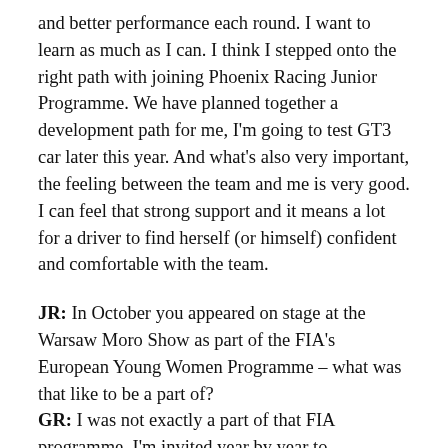and better performance each round. I want to learn as much as I can. I think I stepped onto the right path with joining Phoenix Racing Junior Programme. We have planned together a development path for me, I'm going to test GT3 car later this year. And what's also very important, the feeling between the team and me is very good. I can feel that strong support and it means a lot for a driver to find herself (or himself) confident and comfortable with the team.
JR: In October you appeared on stage at the Warsaw Moro Show as part of the FIA's European Young Women Programme – what was that like to be a part of? GR: I was not exactly a part of that FIA programme. I'm invited year by year to